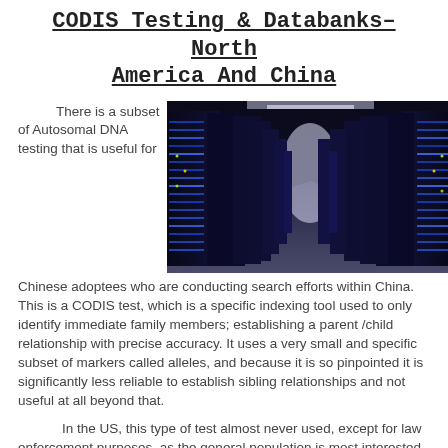CODIS Testing & Databanks– North America And China
There is a subset of Autosomal DNA testing that is useful for
[Figure (photo): Large server room/data center with rows of illuminated blue server racks extending into the distance, viewed from a central corridor.]
Chinese adoptees who are conducting search efforts within China. This is a CODIS test, which is a specific indexing tool used to only identify immediate family members; establishing a parent /child relationship with precise accuracy. It uses a very small and specific subset of markers called alleles, and because it is so pinpointed it is significantly less reliable to establish sibling relationships and not useful at all beyond that.
In the US, this type of test almost never used, except for law enforcement purposes, as the general population is most interested in broader interest in genealogical type of results which can link to